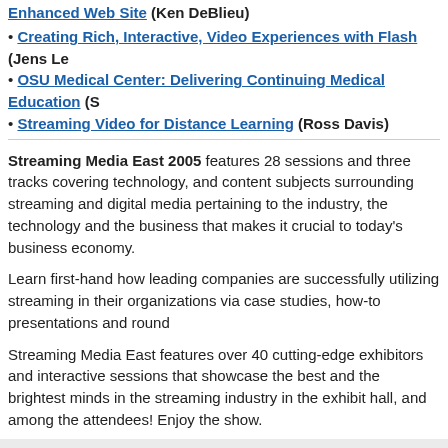Enhanced Web Site (Ken DeBlieu)
Creating Rich, Interactive, Video Experiences with Flash (Jens Le...)
OSU Medical Center: Delivering Continuing Medical Education (S...)
Streaming Video for Distance Learning (Ross Davis)
Streaming Media East 2005 features 28 sessions and three tracks covering technology, and content subjects surrounding streaming and digital me... pertaining to the industry, the technology and the business that makes it crucial to today's business economy.
Learn first-hand how leading companies are successfully utilizing streaming in their organizations via case studies, how-to presentations and round...
Streaming Media East features over 40 cutting-edge exhibitors and interactive sessions that showcase the best and the brightest minds in the streaming industry in the exhibit hall, and among the attendees! Enjoy the show.
Features sessions covering the following topics:
HTML5 Video
Inside the Cross-Platform Olympics Experience
Media Framework: Video Publishing Platforms
Using HD Video for Better Engagement
Content Sy... Strategies
P2P on the...
Advertising... Torrent
Streaming...